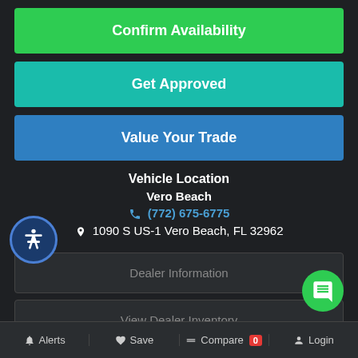Confirm Availability
Get Approved
Value Your Trade
Vehicle Location
Vero Beach
(772) 675-6775
1090 S US-1 Vero Beach, FL 32962
Dealer Information
View Dealer Inventory
Alerts  Save  Compare 0  Login